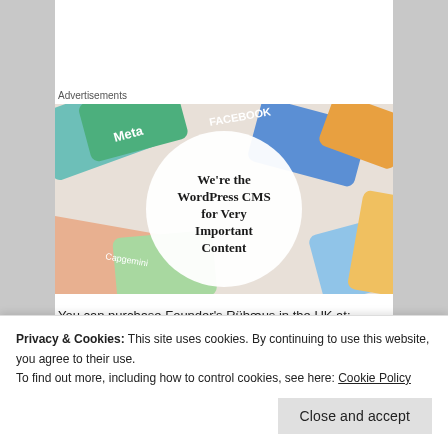Advertisements
[Figure (illustration): Advertisement banner: colorful cards with social media and brand logos (Meta, Facebook, Capgemini, etc.) around a white circle with text 'We're the WordPress CMS for Very Important Content']
You can purchase Founder's Rübæus in the UK at:
Beers Of Europe
Privacy & Cookies: This site uses cookies. By continuing to use this website, you agree to their use.
To find out more, including how to control cookies, see here: Cookie Policy
Close and accept